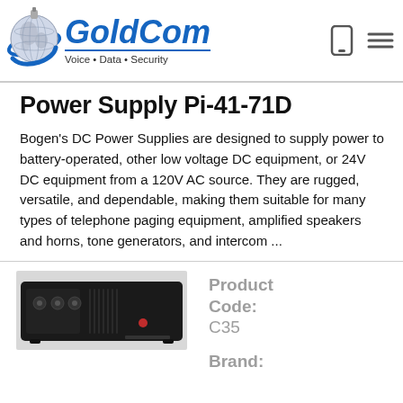GoldCom Voice • Data • Security
Power Supply Pi-41-71D
Bogen's DC Power Supplies are designed to supply power to battery-operated, other low voltage DC equipment, or 24V DC equipment from a 120V AC source. They are rugged, versatile, and dependable, making them suitable for many types of telephone paging equipment, amplified speakers and horns, tone generators, and intercom ...
[Figure (photo): Photo of Bogen power supply unit, a dark rectangular electronic device with controls and a red indicator light on the front panel]
Product Code: C35
Brand: